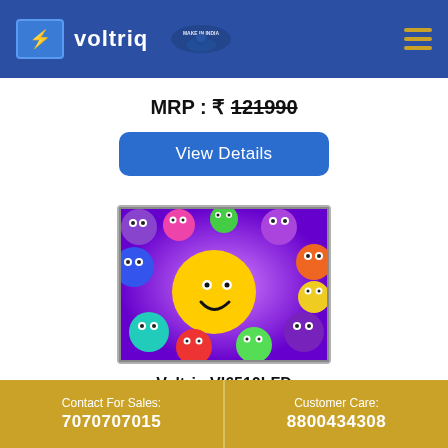Voltriq - Make in India
MRP : ₹ 121990
View Details
[Figure (photo): Product image of Voltriq VI6510LFD TV showing colorful cartoon emoji balls on screen]
Voltriq VI6510LFD
Contact For Sales: 7070707015 | Customer Care: 8800434308